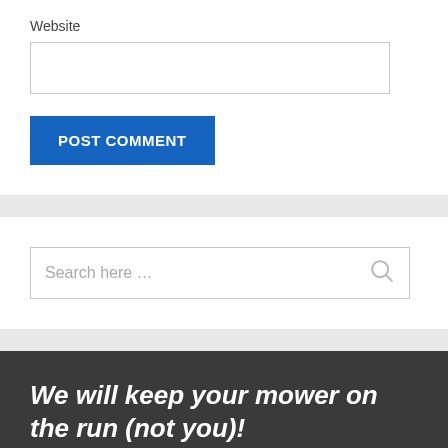Website
POST COMMENT
Search here …
We will keep your mower on the run (not you)!